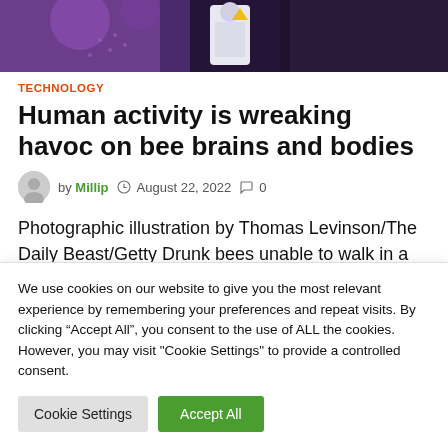[Figure (illustration): Comic/illustrated hero image showing a figure in white against a purple and dark background]
TECHNOLOGY
Human activity is wreaking havoc on bee brains and bodies
by Millip  August 22, 2022  0
Photographic illustration by Thomas Levinson/The Daily Beast/Getty Drunk bees unable to walk in a straight line
We use cookies on our website to give you the most relevant experience by remembering your preferences and repeat visits. By clicking “Accept All”, you consent to the use of ALL the cookies. However, you may visit "Cookie Settings" to provide a controlled consent.